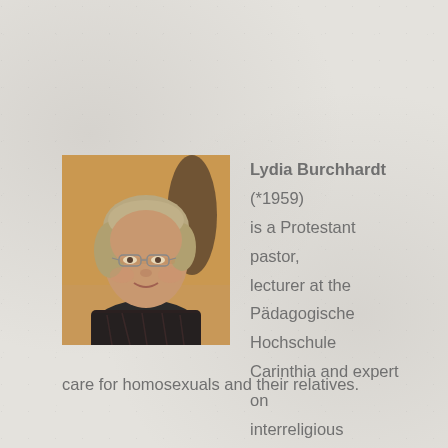[Figure (photo): Portrait photo of Lydia Burchhardt, a middle-aged woman with short blonde-grey hair wearing glasses and a dark patterned blouse, smiling at the camera]
Lydia Burchhardt (*1959) is a Protestant pastor, lecturer at the Pädagogische Hochschule Carinthia and expert on interreligious education. She also deals with deaf pastoral care and pastoral care for homosexuals and their relatives.